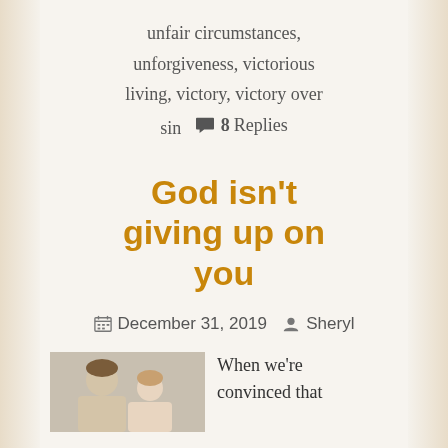unfair circumstances, unforgiveness, victorious living, victory, victory over sin  🗨 8 Replies
God isn't giving up on you
December 31, 2019  Sheryl
When we're convinced that